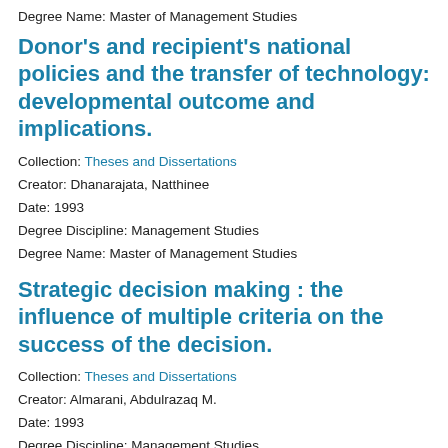Degree Name: Master of Management Studies
Donor's and recipient's national policies and the transfer of technology: developmental outcome and implications.
Collection: Theses and Dissertations
Creator: Dhanarajata, Natthinee
Date: 1993
Degree Discipline: Management Studies
Degree Name: Master of Management Studies
Strategic decision making : the influence of multiple criteria on the success of the decision.
Collection: Theses and Dissertations
Creator: Almarani, Abdulrazaq M.
Date: 1993
Degree Discipline: Management Studies
Degree Name: Master of Management Studies